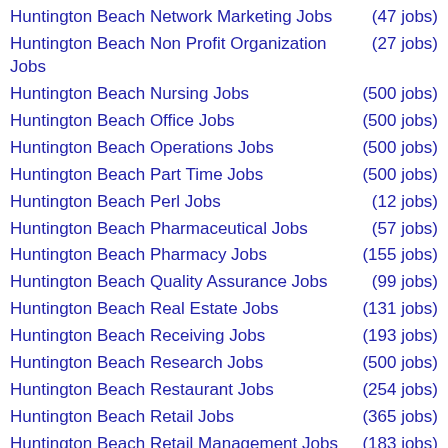Huntington Beach Network Marketing Jobs (47 jobs)
Huntington Beach Non Profit Organization Jobs (27 jobs)
Huntington Beach Nursing Jobs (500 jobs)
Huntington Beach Office Jobs (500 jobs)
Huntington Beach Operations Jobs (500 jobs)
Huntington Beach Part Time Jobs (500 jobs)
Huntington Beach Perl Jobs (12 jobs)
Huntington Beach Pharmaceutical Jobs (57 jobs)
Huntington Beach Pharmacy Jobs (155 jobs)
Huntington Beach Quality Assurance Jobs (99 jobs)
Huntington Beach Real Estate Jobs (131 jobs)
Huntington Beach Receiving Jobs (193 jobs)
Huntington Beach Research Jobs (500 jobs)
Huntington Beach Restaurant Jobs (254 jobs)
Huntington Beach Retail Jobs (365 jobs)
Huntington Beach Retail Management Jobs (183 jobs)
Huntington Beach Retail Sales Jobs (212 jobs)
Huntington Beach Sales Jobs (500 jobs)
Huntington Beach Sales Management Jobs (360 jobs)
Huntington Beach Science Jobs (300 jobs)